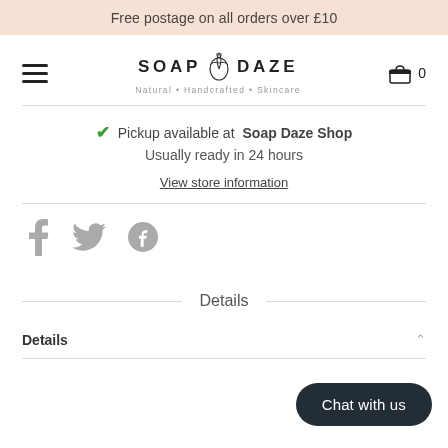Free postage on all orders over £10
[Figure (logo): Soap Daze logo with leaf illustration. Text: SOAP DAZE, Natural • Handcrafted • Skincare]
✓ Pickup available at Soap Daze Shop
Usually ready in 24 hours
View store information
[Figure (other): Social media icons: Facebook, Twitter, Pinterest]
Details
Details
[Figure (other): Chat with us button]